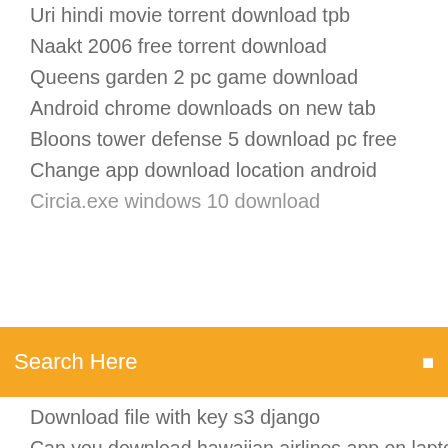Uri hindi movie torrent download tpb
Naakt 2006 free torrent download
Queens garden 2 pc game download
Android chrome downloads on new tab
Bloons tower defense 5 download pc free
Change app download location android
Circia.exe windows 10 download
Search Here
Download file with key s3 django
Can you download hawaiian airlines app on laptop
Download driver elitedesk 705 g3
Pathfinder books pdf free download
3ds emulator android download apk
Ccna cybersecurity operations lab manual pdf download
Juiced 2005 pc download
Download logo subscribe bergerak
How to use files downloaded from github
Huion h610pro driver download android